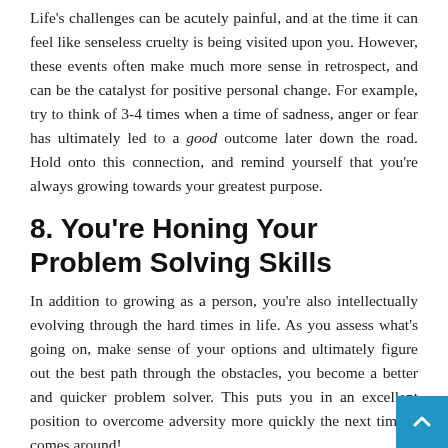Life's challenges can be acutely painful, and at the time it can feel like senseless cruelty is being visited upon you. However, these events often make much more sense in retrospect, and can be the catalyst for positive personal change. For example, try to think of 3-4 times when a time of sadness, anger or fear has ultimately led to a good outcome later down the road. Hold onto this connection, and remind yourself that you're always growing towards your greatest purpose.
8. You're Honing Your Problem Solving Skills
In addition to growing as a person, you're also intellectually evolving through the hard times in life. As you assess what's going on, make sense of your options and ultimately figure out the best path through the obstacles, you become a better and quicker problem solver. This puts you in an excellent position to overcome adversity more quickly the next time it comes around!